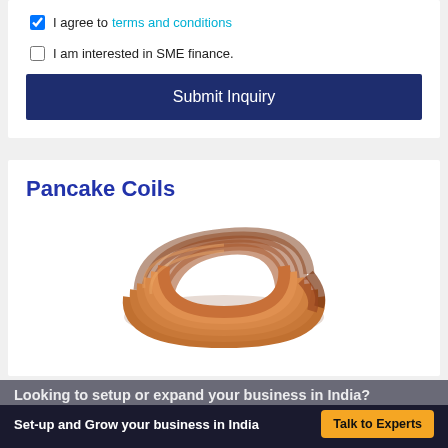I agree to terms and conditions
I am interested in SME finance.
Submit Inquiry
Pancake Coils
[Figure (photo): A copper pancake coil (copper tubing coiled in a flat spiral), shown from the side, copper/brown color]
Looking to setup or expand your business in India?
Set-up and Grow your business in India
Talk to Experts